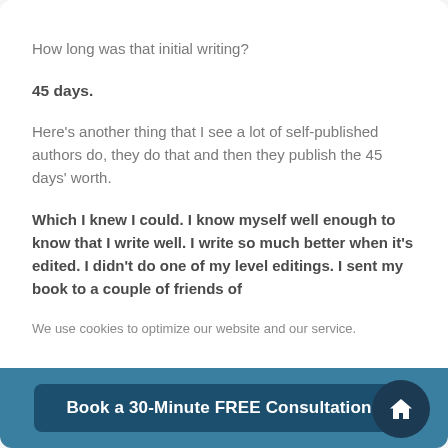How long was that initial writing?
45 days.
Here’s another thing that I see a lot of self-published authors do, they do that and then they publish the 45 days’ worth.
Which I knew I could. I know myself well enough to know that I write well. I write so much better when it’s edited. I didn’t do one of my level editings. I sent my book to a couple of friends of
We use cookies to optimize our website and our service.
Book a 30-Minute FREE Consultation